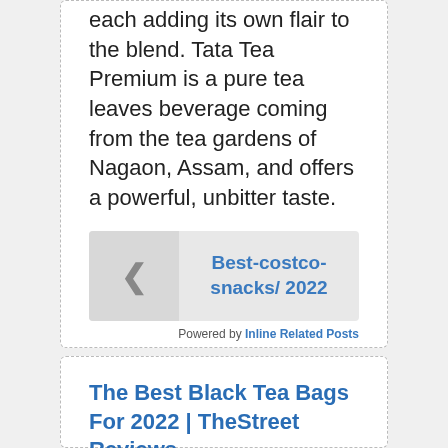each adding its own flair to the blend. Tata Tea Premium is a pure tea leaves beverage coming from the tea gardens of Nagaon, Assam, and offers a powerful, unbitter taste.
[Figure (other): Navigation widget with left arrow and link text 'Best-costco-snacks/ 2022' in blue, with 'Powered by Inline Related Posts' below]
https://www.amazon.com/Twinings-London-Earl-Black-Count/dp/B
The Best Black Tea Bags For 2022 | TheStreet Reviews